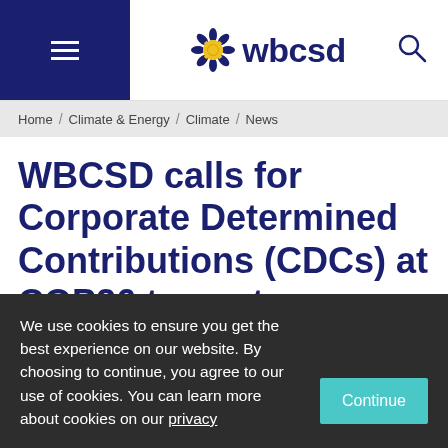WBCSD
Home / Climate & Energy / Climate / News
WBCSD calls for Corporate Determined Contributions (CDCs) at COP26 to capture business progress in the global climate recovery
We use cookies to ensure you get the best experience on our website. By choosing to continue, you agree to our use of cookies. You can learn more about cookies on our privacy